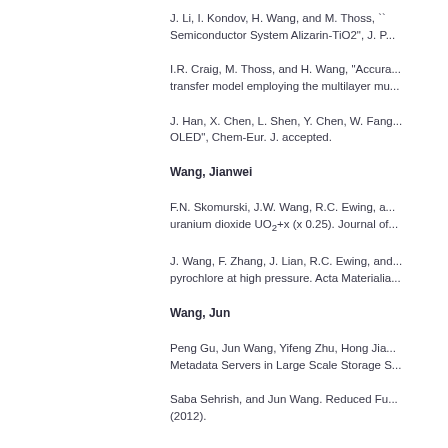J. Li, I. Kondov, H. Wang, and M. Thoss, ``...Semiconductor System Alizarin-TiO2", J. P...
I.R. Craig, M. Thoss, and H. Wang, "Accura...transfer model employing the multilayer mu...
J. Han, X. Chen, L. Shen, Y. Chen, W. Fang...OLED", Chem-Eur. J. accepted.
Wang, Jianwei
F.N. Skomurski, J.W. Wang, R.C. Ewing, and...uranium dioxide UO2+x (x 0.25). Journal of...
J. Wang, F. Zhang, J. Lian, R.C. Ewing, and...pyrochlore at high pressure. Acta Materialia...
Wang, Jun
Peng Gu, Jun Wang, Yifeng Zhu, Hong Jia...Metadata Servers in Large Scale Storage S...
Saba Sehrish, and Jun Wang. Reduced Fu...(2012).